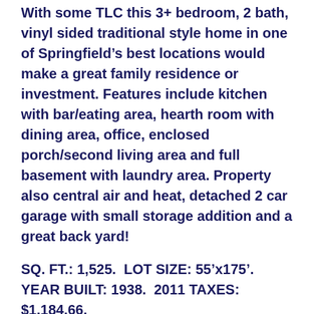With some TLC this 3+ bedroom, 2 bath, vinyl sided traditional style home in one of Springfield's best locations would make a great family residence or investment. Features include kitchen with bar/eating area, hearth room with dining area, office, enclosed porch/second living area and full basement with laundry area. Property also central air and heat, detached 2 car garage with small storage addition and a great back yard!
SQ. FT.: 1,525.  LOT SIZE: 55'x175'.  YEAR BUILT: 1938.  2011 TAXES: $1,184.66.
TERMS: 10% down day of Auction, balance due in cash on or before Friday, November 23, 2012.